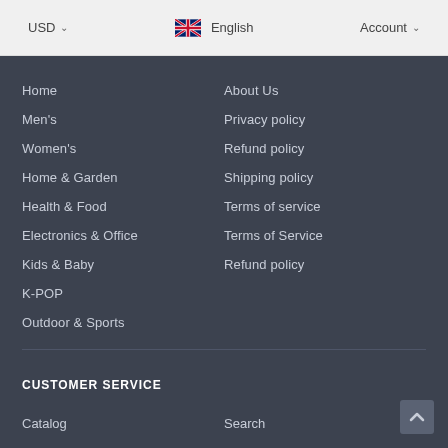USD  English  Account
Home
Men's
Women's
Home & Garden
Health & Food
Electronics & Office
Kids & Baby
K-POP
Outdoor & Sports
About Us
Privacy policy
Refund policy
Shipping policy
Terms of service
Terms of Service
Refund policy
CUSTOMER SERVICE
Catalog
Search